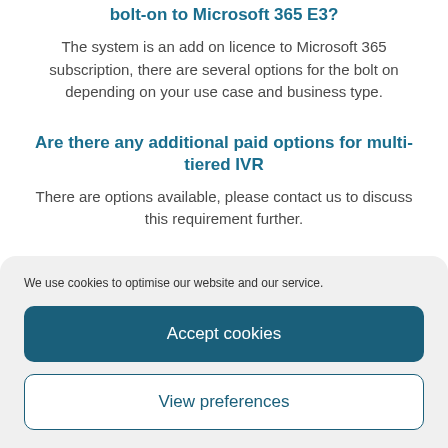bolt-on to Microsoft 365 E3?
The system is an add on licence to Microsoft 365 subscription, there are several options for the bolt on depending on your use case and business type.
Are there any additional paid options for multi-tiered IVR
There are options available, please contact us to discuss this requirement further.
We use cookies to optimise our website and our service.
Accept cookies
View preferences